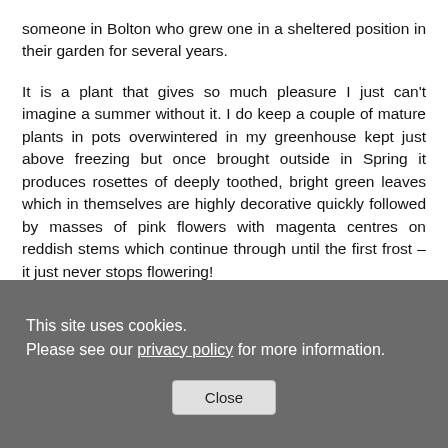someone in Bolton who grew one in a sheltered position in their garden for several years.
It is a plant that gives so much pleasure I just can't imagine a summer without it. I do keep a couple of mature plants in pots overwintered in my greenhouse kept just above freezing but once brought outside in Spring it produces rosettes of deeply toothed, bright green leaves which in themselves are highly decorative quickly followed by masses of pink flowers with magenta centres on reddish stems which continue through until the first frost – it just never stops flowering!
It produces seeds in late summer even though still flowering and these may be collected and dried if necessary before
This site uses cookies.
Please see our privacy policy for more information.